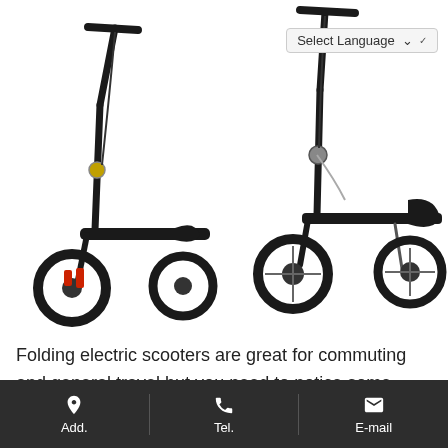[Figure (photo): Two black folding electric scooters side by side on a white background. Left scooter shows red brake components, right scooter shows a kickstand deployed.]
Folding electric scooters are great for commuting and general travel but you need to notice some aspects. How portable does it need to be? Will you be taking it on any public transport or storing it at work? How comfortable do you need it to be? Will standing up like a traditional folding
Add.   Tel.   E-mail